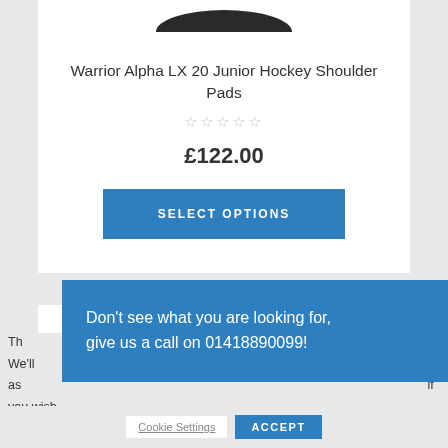[Figure (photo): Partial view of a hockey shoulder pad product image at the top of the card, cropped]
Warrior Alpha LX 20 Junior Hockey Shoulder Pads
☆☆☆☆☆
£122.00
SELECT OPTIONS
Don't see what you are looking for, give us a call on 01418890099!
Th... irience. We'll as... if you wish.
Cookie Settings   ACCEPT